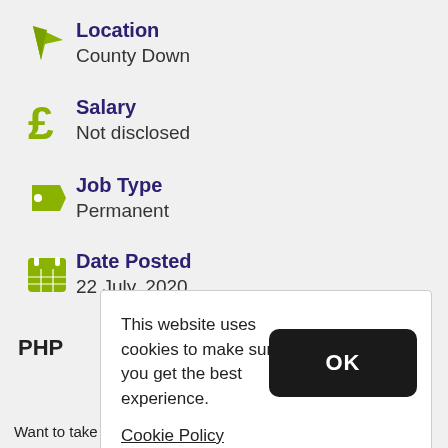Location
County Down
Salary
Not disclosed
Job Type
Permanent
Date Posted
22 July, 2020
This website uses cookies to make sure you get the best experience.
Cookie Policy
OK
PHP
Want to take your career to the next level? Abacus Careers